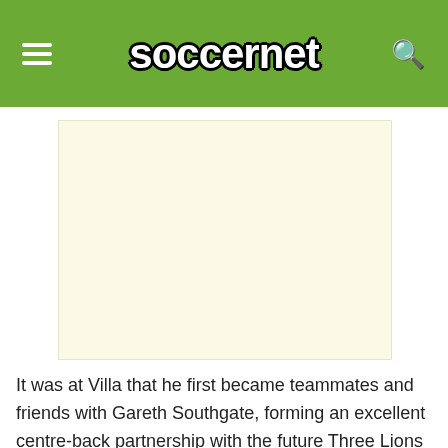soccernet
[Figure (other): Blank advertisement placeholder box with light cream/beige background]
It was at Villa that he first became teammates and friends with Gareth Southgate, forming an excellent centre-back partnership with the future Three Lions boss.